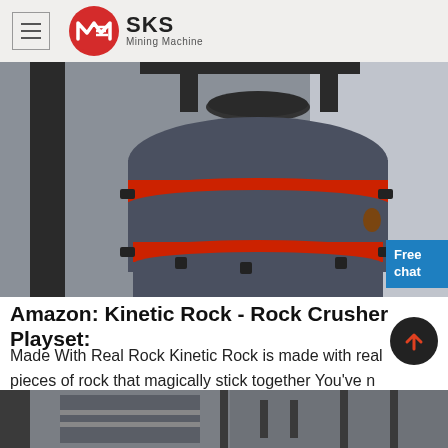[Figure (logo): SKS Mining Machine logo with red circular emblem and hamburger menu icon]
[Figure (photo): Large industrial rock crusher machine, dark gray cylindrical body with red banding, mounted with metal frame]
Amazon: Kinetic Rock - Rock Crusher Playset:
Made With Real Rock Kinetic Rock is made with real pieces of rock that magically stick together You've never felt rock like this before! Dig it, build it, and crush it.
[Figure (photo): Bottom strip showing industrial machinery parts in gray]